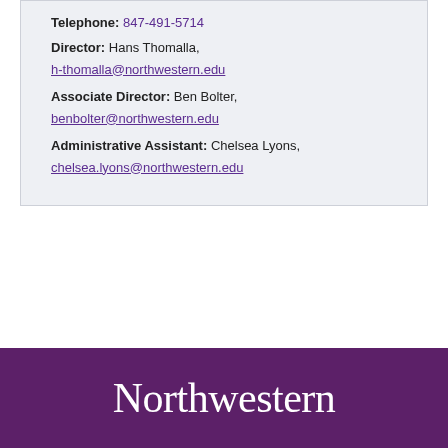Telephone: 847-491-5714
Director: Hans Thomalla,
h-thomalla@northwestern.edu
Associate Director: Ben Bolter,
benbolter@northwestern.edu
Administrative Assistant: Chelsea Lyons,
chelsea.lyons@northwestern.edu
[Figure (logo): Northwestern University wordmark in white on purple background]